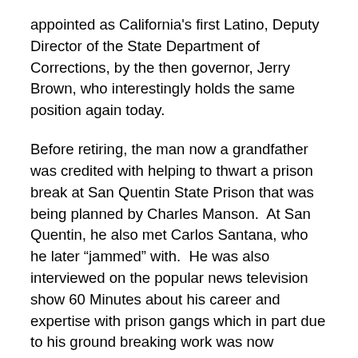appointed as California's first Latino, Deputy Director of the State Department of Corrections, by the then governor, Jerry Brown, who interestingly holds the same position again today.
Before retiring, the man now a grandfather was credited with helping to thwart a prison break at San Quentin State Prison that was being planned by Charles Manson.  At San Quentin, he also met Carlos Santana, who he later “jammed” with.  He was also interviewed on the popular news television show 60 Minutes about his career and expertise with prison gangs which in part due to his ground breaking work was now recognized as an important problem that plagues prisons across the U.S.
After retiring the grandfather moved to the desert and worked for Sonny Bono’s city administration in Palm